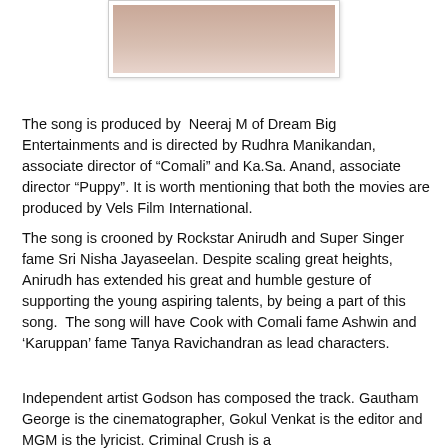[Figure (photo): Partial photo of a person, cropped at top, light/pinkish background]
The song is produced by Neeraj M of Dream Big Entertainments and is directed by Rudhra Manikandan, associate director of “Comali” and Ka.Sa. Anand, associate director “Puppy”. It is worth mentioning that both the movies are produced by Vels Film International.
The song is crooned by Rockstar Anirudh and Super Singer fame Sri Nisha Jayaseelan. Despite scaling great heights, Anirudh has extended his great and humble gesture of supporting the young aspiring talents, by being a part of this song. The song will have Cook with Comali fame Ashwin and ‘Karuppan’ fame Tanya Ravichandran as lead characters.
Independent artist Godson has composed the track. Gautham George is the cinematographer, Gokul Venkat is the editor and MGM is the lyricist. Criminal Crush is a